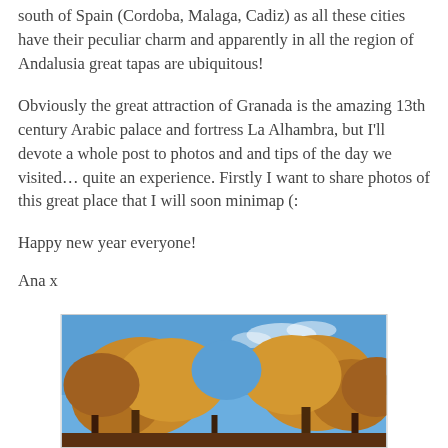south of Spain (Cordoba, Malaga, Cadiz) as all these cities have their peculiar charm and apparently in all the region of Andalusia great tapas are ubiquitous!
Obviously the great attraction of Granada is the amazing 13th century Arabic palace and fortress La Alhambra, but I'll devote a whole post to photos and and tips of the day we visited… quite an experience. Firstly I want to share photos of this great place that I will soon minimap (:
Happy new year everyone!
Ana x
[Figure (photo): Photograph of autumn trees with orange/brown foliage against a blue sky, taken from below looking up.]